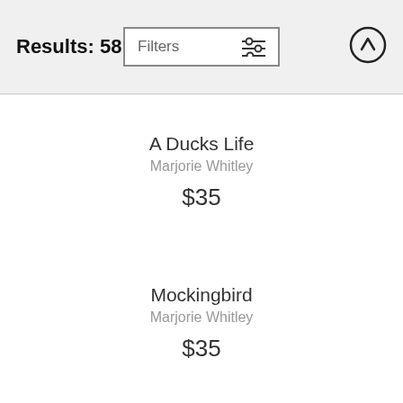Results: 58
A Ducks Life
Marjorie Whitley
$35
Mockingbird
Marjorie Whitley
$35
Robin's Perch